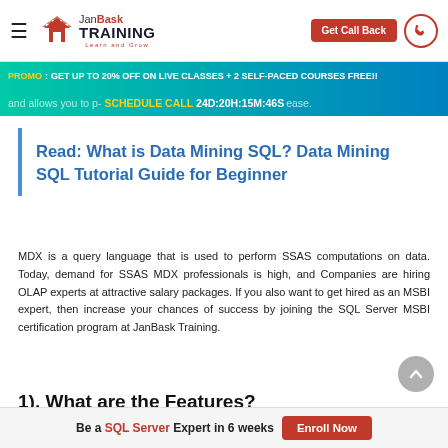JanBask TRAINING Learn and Grow | Get Call Back
PROMO : GET UP TO 20% OFF ON LIVE CLASSES + 2 SELF-PACED COURSES FREE!!
and allows you to p- SCHEDULE CALL 24D:20H:15M:46S ease.
Read: What is Data Mining SQL? Data Mining SQL Tutorial Guide for Beginner
MDX is a query language that is used to perform SSAS computations on data. Today, demand for SSAS MDX professionals is high, and Companies are hiring OLAP experts at attractive salary packages. If you also want to get hired as an MSBI expert, then increase your chances of success by joining the SQL Server MSBI certification program at JanBask Training.
1). What are the Features?
Be a SQL Server Expert in 6 weeks | Enroll Now